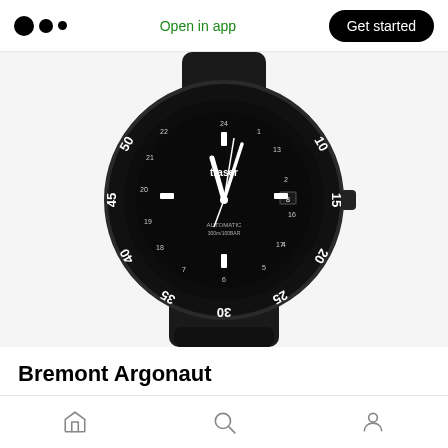Open in app | Get started
[Figure (photo): Black Traser diver watch with black rubber strap, automatic movement, 300m/100BAR water resistance, shown from front with angled bezel markings at 25, 30, 35, 40, 45, 50 etc.]
Bremont Argonaut
Bremont has a long history of making watches
Home | Search | Profile